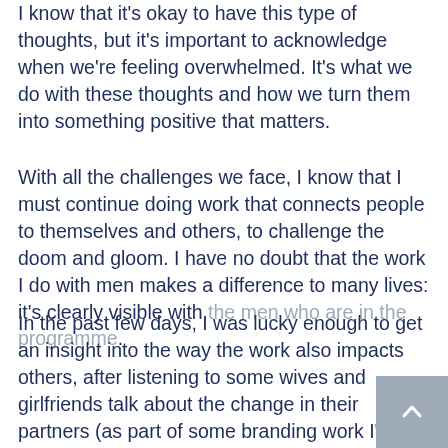I know that it's okay to have this type of thoughts, but it's important to acknowledge when we're feeling overwhelmed. It's what we do with these thoughts and how we turn them into something positive that matters.
With all the challenges we face, I know that I must continue doing work that connects people to themselves and others, to challenge the doom and gloom. I have no doubt that the work I do with men makes a difference to many lives: it's clearly visible with the men who are in the programme.
In the past few days, I was lucky enough to get an insight into the way the work also impacts others, after listening to some wives and girlfriends talk about the change in their partners (as part of some branding work I've been doing). We might not be able to change the whole world, but we must do what we can, one act at a time, to create a positive ripple effect on others. There's so much more value and satisfaction in spending our time doing